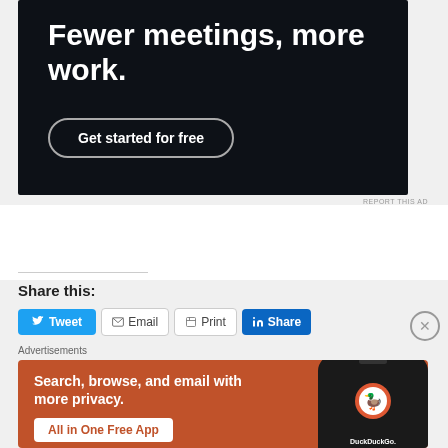[Figure (infographic): Dark navy advertisement banner with bold white text 'Fewer meetings, more work.' and a 'Get started for free' button with rounded border.]
REPORT THIS AD
Share this:
[Figure (infographic): Share buttons row showing Tweet (blue), Email (outline), Print (outline), Share on LinkedIn (blue), and a close X circle button.]
Advertisements
[Figure (infographic): DuckDuckGo orange advertisement: 'Search, browse, and email with more privacy. All in One Free App' with a smartphone showing DuckDuckGo logo.]